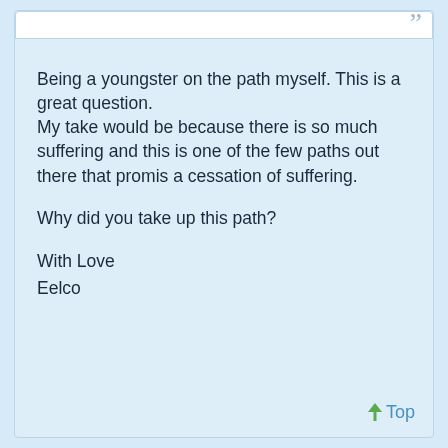Being a youngster on the path myself. This is a great question.
My take would be because there is so much suffering and this is one of the few paths out there that promis a cessation of suffering.
Why did you take up this path?
With Love
Eelco
Top